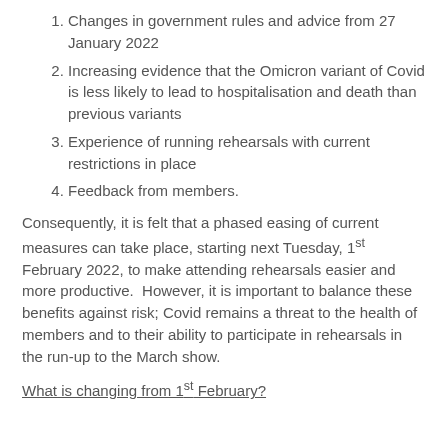Changes in government rules and advice from 27 January 2022
Increasing evidence that the Omicron variant of Covid is less likely to lead to hospitalisation and death than previous variants
Experience of running rehearsals with current restrictions in place
Feedback from members.
Consequently, it is felt that a phased easing of current measures can take place, starting next Tuesday, 1st February 2022, to make attending rehearsals easier and more productive. However, it is important to balance these benefits against risk; Covid remains a threat to the health of members and to their ability to participate in rehearsals in the run-up to the March show.
What is changing from 1st February?